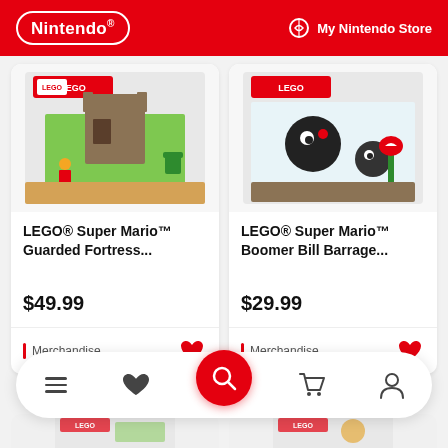Nintendo | My Nintendo Store
[Figure (screenshot): LEGO Super Mario Guarded Fortress product box image]
LEGO® Super Mario™ Guarded Fortress...
$49.99
Merchandise
[Figure (screenshot): LEGO Super Mario Boomer Bill Barrage product box image]
LEGO® Super Mario™ Boomer Bill Barrage...
$29.99
Merchandise